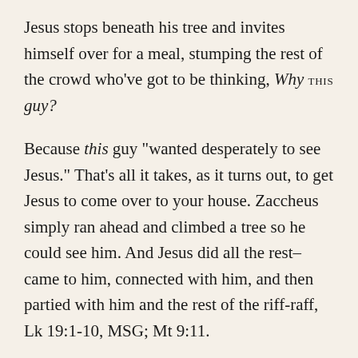Jesus stops beneath his tree and invites himself over for a meal, stumping the rest of the crowd who've got to be thinking, Why THIS guy?
Because this guy "wanted desperately to see Jesus." That's all it takes, as it turns out, to get Jesus to come over to your house. Zaccheus simply ran ahead and climbed a tree so he could see him. And Jesus did all the rest–came to him, connected with him, and then partied with him and the rest of the riff-raff, Lk 19:1-10, MSG; Mt 9:11.
Salvation came to Zaccheus, Jesus said (in case we missed it), because "the Son of Man came to find and restore the lost," which seems to suggest, he